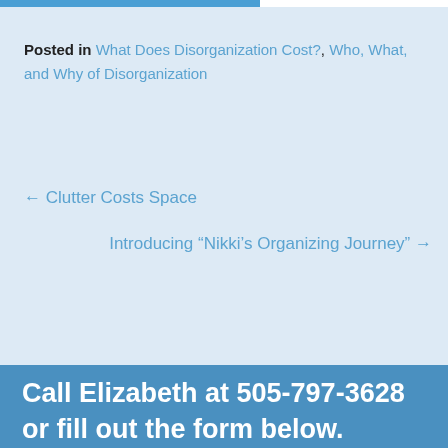Posted in What Does Disorganization Cost?, Who, What, and Why of Disorganization
← Clutter Costs Space
Introducing “Nikki’s Organizing Journey” →
Call Elizabeth at 505-797-3628 or fill out the form below.
First Name